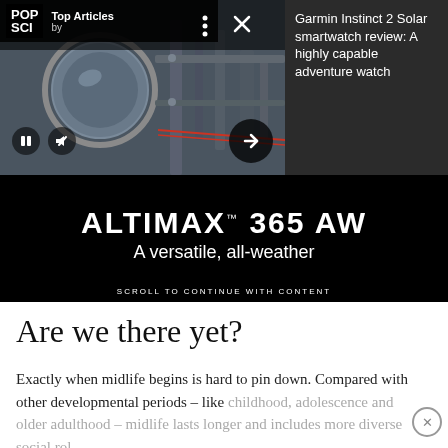[Figure (screenshot): POP SCI Top Articles video player overlay with machinery/industrial background image, play/mute controls at bottom, three-dot menu and X close button at top right]
Garmin Instinct 2 Solar smartwatch review: A highly capable adventure watch
[Figure (infographic): AltiMAX TM 365 AW advertisement banner on black background with text 'A versatile, all-weather' and 'SCROLL TO CONTINUE WITH CONTENT']
Are we there yet?
Exactly when midlife begins is hard to pin down. Compared with other developmental periods – like childhood, adolescence and older adulthood – midlife lasts longer and includes more diverse social rol…